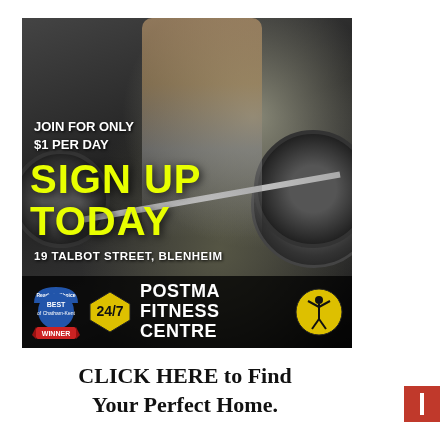[Figure (illustration): Gym advertisement image showing a person lifting a barbell with weights, overlaid with promotional text: 'JOIN FOR ONLY $1 PER DAY', 'SIGN UP TODAY', '19 TALBOT STREET, BLENHEIM', with the Postma Fitness Centre logo, a 24/7 badge, and a Best Winner badge at the bottom.]
CLICK HERE to Find Your Perfect Home.